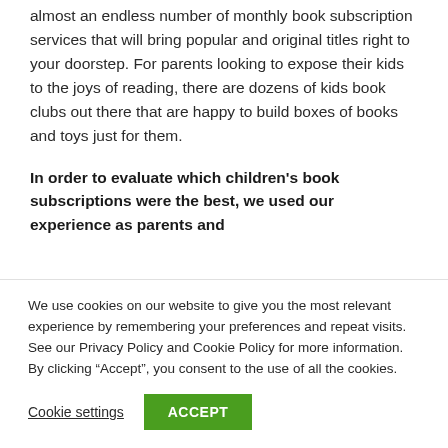almost an endless number of monthly book subscription services that will bring popular and original titles right to your doorstep. For parents looking to expose their kids to the joys of reading, there are dozens of kids book clubs out there that are happy to build boxes of books and toys just for them.
In order to evaluate which children's book subscriptions were the best, we used our experience as parents and
We use cookies on our website to give you the most relevant experience by remembering your preferences and repeat visits. See our Privacy Policy and Cookie Policy for more information. By clicking “Accept”, you consent to the use of all the cookies.
Cookie settings | ACCEPT